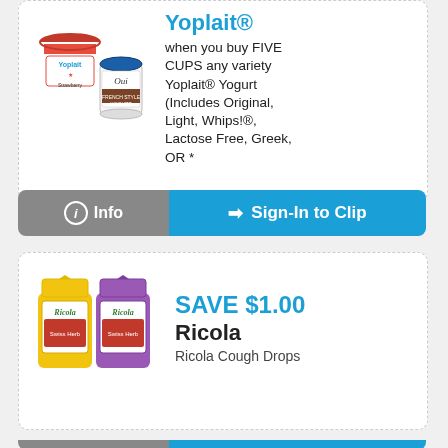[Figure (photo): Yoplait yogurt products including a strawberry cup and an Oui jar]
Yoplait®
when you buy FIVE CUPS any variety Yoplait® Yogurt (Includes Original, Light, Whips!®, Lactose Free, Greek, OR *
ℹ Info   ➡ Sign-In to Clip
[Figure (photo): Two bags of Ricola Swiss Herb Drops — one yellow and one purple]
SAVE $1.00
Ricola
Ricola Cough Drops